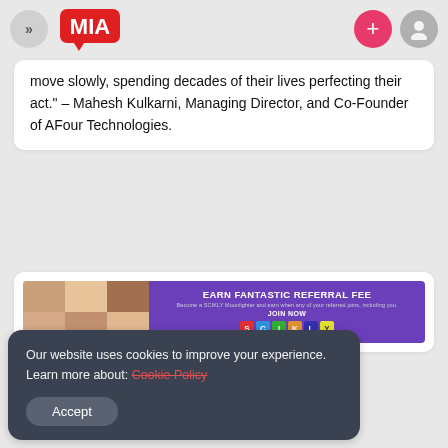MIA navigation header with logo and action buttons
move slowly, spending decades of their lives perfecting their act.” – Mahesh Kulkarni, Managing Director, and Co-Founder of AFour Technologies.
[Figure (screenshot): Advertisement banner: EARN FANTASTIC REFERRAL FEE - Become a SCIKLY Moonlighter and earn when any of your referred joins, including you. JOIN NOW. SCIKLY logo letters.]
Our website uses cookies to improve your experience. Learn more about: Cookie Policy
Accept